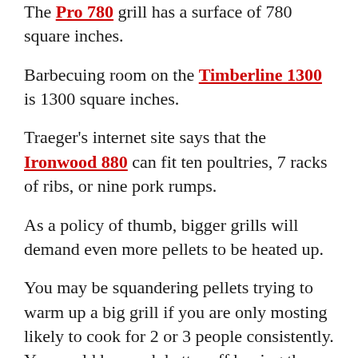The PRO 780 grill has a surface of 780 square inches.
Barbecuing room on the Timberline 1300 is 1300 square inches.
Traeger's internet site says that the Ironwood 880 can fit ten poultries, 7 racks of ribs, or nine pork rumps.
As a policy of thumb, bigger grills will demand even more pellets to be heated up.
You may be squandering pellets trying to warm up a big grill if you are only mosting likely to cook for 2 or 3 people consistently. You could be much better off buying the smaller sized grill as well as utilizing the savings to obtain even more